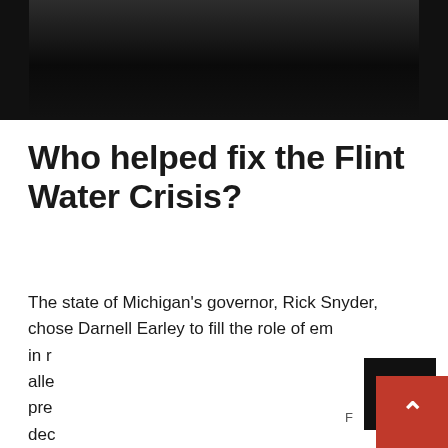[Figure (photo): Dark photo of a person, partially visible at the top of the page, cropped]
Who helped fix the Flint Water Crisis?
The state of Michigan’s governor, Rick Snyder, chose Darnell Earley to fill the role of em[ergency manager in F[lint]. Earley alle[gedly] pre[sided over decisions that] dec[ided to switch] the [city’s water supply] op[erations, a] pro[cess that...]